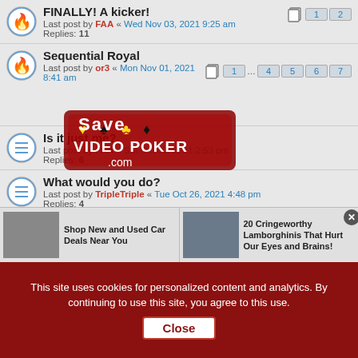FINALLY! A kicker! - Last post by FAA « Wed Nov 03, 2021 9:25 am - Replies: 11
Sequential Royal - Last post by or3 « Mon Nov 01, 2021 8:41 am
Is it just me? - Last post by FAA « Sat Oct 30, 2021 2:53 pm - Replies: 6
What would you do? - Last post by TripleTriple « Tue Oct 26, 2021 4:48 pm - Replies: 4
REO trip - Last post by FAA « Mon Oct 18, 2021 2:35 pm - Replies: 2
Lack of Video Poker activity, or what? - Last post by TripleTriple « Mon Oct 04, 2021 5:46 pm - Replies: 10
[Figure (logo): SaveVideoPoker.com watermark logo overlaid on the forum list]
Shop New and Used Car Deals Near You
20 Cringeworthy Lamborghinis That Hurt Our Eyes and Brains!
This site uses cookies for personalized content and analytics. By continuing to use this site, you agree to this use. Close